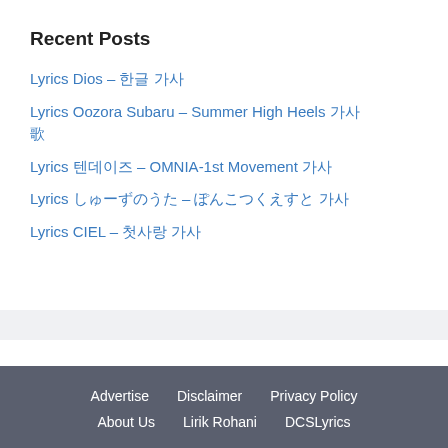Recent Posts
Lyrics Dios – 한글 가사
Lyrics Oozora Subaru – Summer High Heels 가사/歌詞
Lyrics 텐데이즈 – OMNIA-1st Movement 가사
Lyrics しゅーずのうた – ぽんこつくえすと 가사
Lyrics CIEL – 첫사랑 가사
Advertise   Disclaimer   Privacy Policy   About Us   Lirik Rohani   DCSLyrics